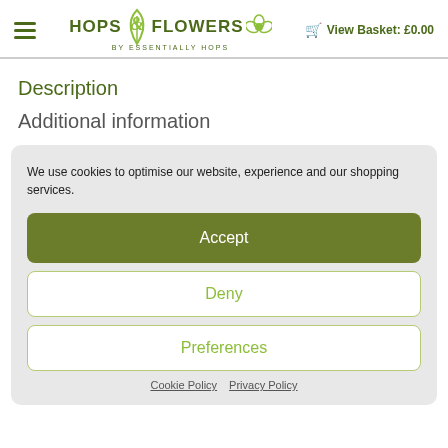HOPS & FLOWERS BY ESSENTIALLY HOPS | View Basket: £0.00
Description
Additional information
We use cookies to optimise our website, experience and our shopping services.
Accept
Deny
Preferences
Cookie Policy  Privacy Policy